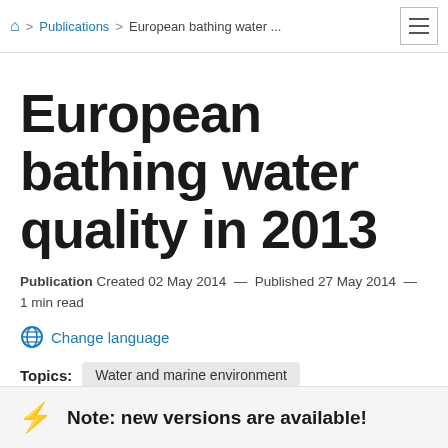Publications > European bathing water ...
European bathing water quality in 2013
Publication Created 02 May 2014 — Published 27 May 2014 — 1 min read
Change language
Topics: Water and marine environment
Note: new versions are available!